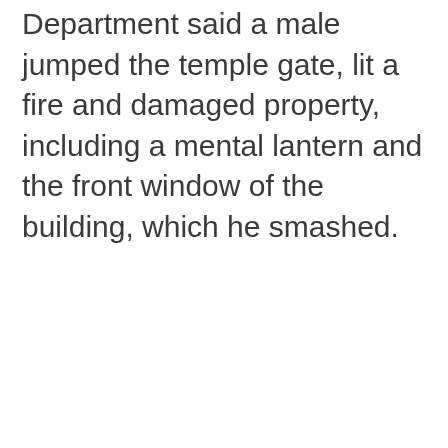Department said a male jumped the temple gate, lit a fire and damaged property, including a mental lantern and the front window of the building, which he smashed.